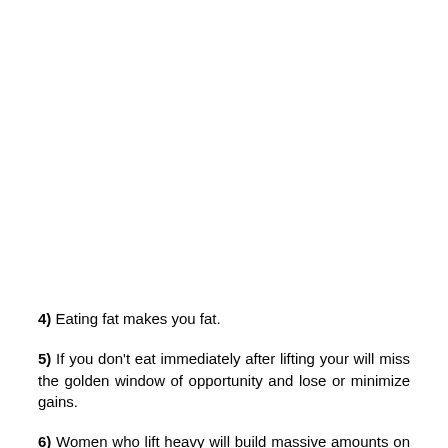4) Eating fat makes you fat.
5) If you don't eat immediately after lifting your will miss the golden window of opportunity and lose or minimize gains.
6) Women who lift heavy will build massive amounts on muscle mass and look disgusting.